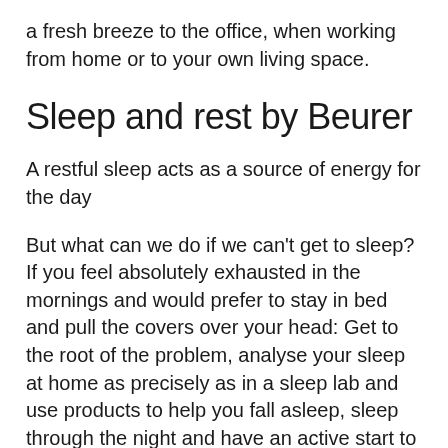a fresh breeze to the office, when working from home or to your own living space.
Sleep and rest by Beurer
A restful sleep acts as a source of energy for the day
But what can we do if we can't get to sleep? If you feel absolutely exhausted in the mornings and would prefer to stay in bed and pull the covers over your head: Get to the root of the problem, analyse your sleep at home as precisely as in a sleep lab and use products to help you fall asleep, sleep through the night and have an active start to the day. The product range consists of sleep sensors, snore stoppers and wake up lights, and has been developed by experts and medically trialled and tested.